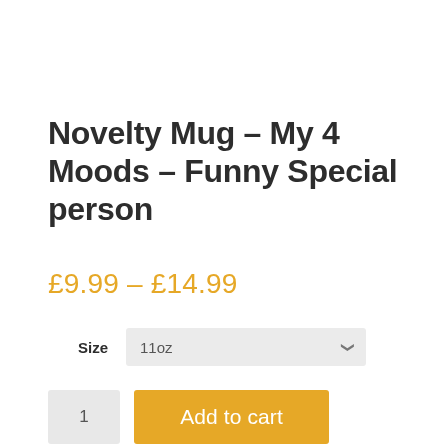Novelty Mug – My 4 Moods – Funny Special person
£9.99 – £14.99
Size
11oz
1
Add to cart